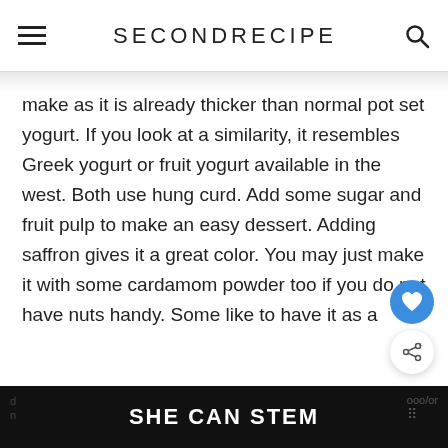SECONDRECIPE
make as it is already thicker than normal pot set yogurt. If you look at a similarity, it resembles Greek yogurt or fruit yogurt available in the west. Both use hung curd. Add some sugar and fruit pulp to make an easy dessert. Adding saffron gives it a great color. You may just make it with some cardamom powder too if you do not have nuts handy. Some like to have it as a
SHE CAN STEM